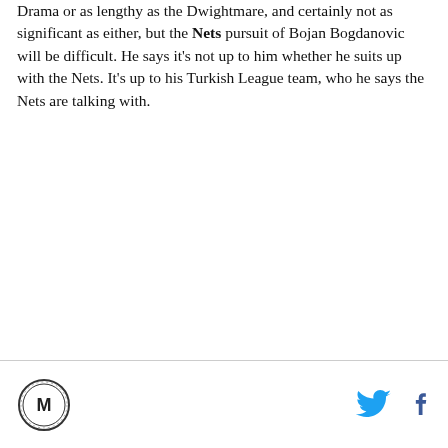Drama or as lengthy as the Dwightmare, and certainly not as significant as either, but the Nets pursuit of Bojan Bogdanovic will be difficult. He says it's not up to him whether he suits up with the Nets. It's up to his Turkish League team, who he says the Nets are talking with.
Logo and social icons (Twitter, Facebook)